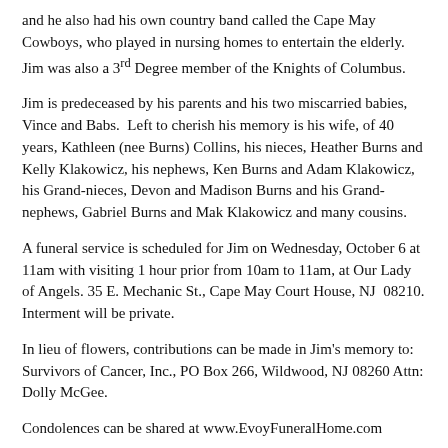and he also had his own country band called the Cape May Cowboys, who played in nursing homes to entertain the elderly. Jim was also a 3rd Degree member of the Knights of Columbus.
Jim is predeceased by his parents and his two miscarried babies, Vince and Babs.  Left to cherish his memory is his wife, of 40 years, Kathleen (nee Burns) Collins, his nieces, Heather Burns and Kelly Klakowicz, his nephews, Ken Burns and Adam Klakowicz, his Grand-nieces, Devon and Madison Burns and his Grand-nephews, Gabriel Burns and Mak Klakowicz and many cousins.
A funeral service is scheduled for Jim on Wednesday, October 6 at 11am with visiting 1 hour prior from 10am to 11am, at Our Lady of Angels. 35 E. Mechanic St., Cape May Court House, NJ  08210. Interment will be private.
In lieu of flowers, contributions can be made in Jim's memory to: Survivors of Cancer, Inc., PO Box 266, Wildwood, NJ 08260 Attn: Dolly McGee.
Condolences can be shared at www.EvoyFuneralHome.com
The Family requests no flower orders.